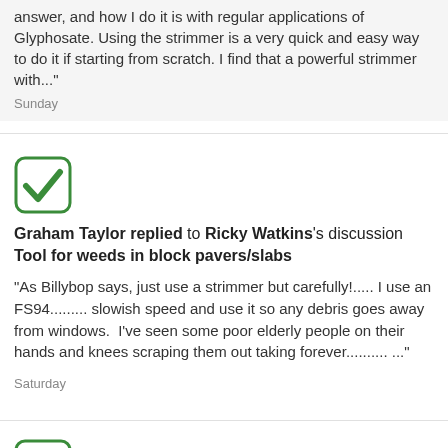answer, and how I do it is with regular applications of Glyphosate. Using the strimmer is a very quick and easy way to do it if starting from scratch. I find that a powerful strimmer with…"
Sunday
[Figure (illustration): Green checkmark icon in a rounded rectangle border]
Graham Taylor replied to Ricky Watkins's discussion Tool for weeds in block pavers/slabs
"As Billybop says, just use a strimmer but carefully!..... I use an FS94......... slowish speed and use it so any debris goes away from windows.  I've seen some poor elderly people on their hands and knees scraping them out taking forever.......... ..."
Saturday
[Figure (illustration): Green checkmark icon in a rounded rectangle border]
Billybop replied to Ricky Watkins's discussion Tool for weeds in block pavers/slabs
"I use a Stihl FS94 but any strimmer for this, as it removes...